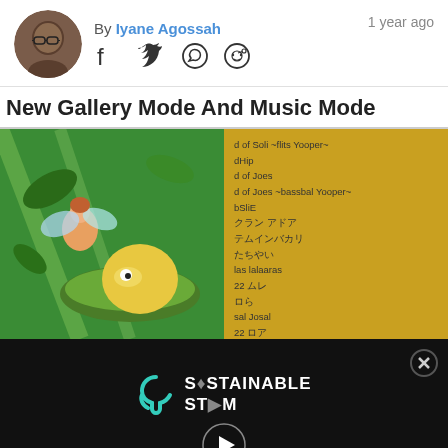By Iyane Agossah
1 year ago
New Gallery Mode And Music Mode
[Figure (photo): Left half: colorful fantasy game artwork showing a fairy-like character and a round creature in a lush green forest. Right half: screenshot of a Japanese game menu on a golden/yellow background with Japanese text listing music tracks.]
[Figure (screenshot): Video player overlay with dark background showing 'SUSTAINABLE STREAM' branding with a play button and teal progress bar, with an X close button in the top right.]
tracks in the game. Note that the original PS1 game already had a sound test mode, but unlocked after clearing